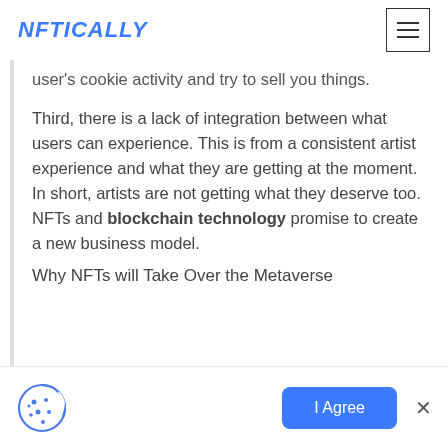NFTICALLY
user's cookie activity and try to sell you things.
Third, there is a lack of integration between what users can experience. This is from a consistent artist experience and what they are getting at the moment. In short, artists are not getting what they deserve too. NFTs and blockchain technology promise to create a new business model.
Why NFTs will Take Over the Metaverse
[Figure (other): Cookie consent bar with cookie icon, I Agree button, and close X button]